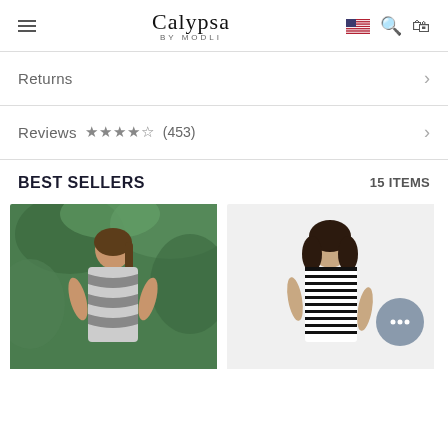Calypsa by Modli — navigation header with hamburger menu, logo, US flag, search, and cart icons
Returns
Reviews ★★★★½ (453)
BEST SELLERS   15 ITEMS
[Figure (photo): Woman wearing black and white patterned dress standing outdoors with tropical greenery background]
[Figure (photo): Woman wearing black and white striped tank top / swimsuit on light background; chat bubble overlay with ellipsis visible]